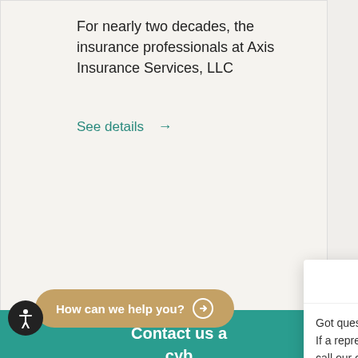For nearly two decades, the insurance professionals at Axis Insurance Services, LLC
See details →
Contact us a... cyb... and privacy &... so...
How can we help you? →
[Figure (logo): Axis Insurance Services logo with stylized letter A]
Got questions? We're happy to help.
If a representative isn't available, please call our office at (201) 847-9175 or leave your Email address below.